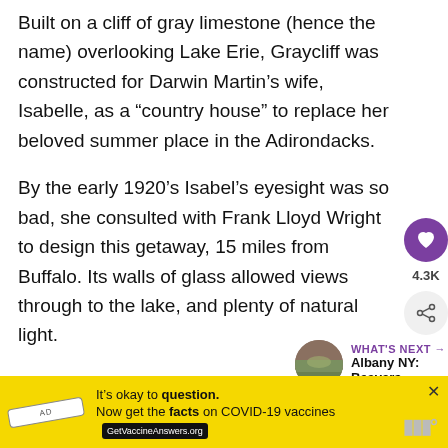Built on a cliff of gray limestone (hence the name) overlooking Lake Erie, Graycliff was constructed for Darwin Martin’s wife, Isabelle, as a “country house” to replace her beloved summer place in the Adirondacks.
By the early 1920’s Isabel’s eyesight was so bad, she consulted with Frank Lloyd Wright to design this getaway, 15 miles from Buffalo. Its walls of glass allowed views through to the lake, and plenty of natural light.
[Figure (infographic): Social media UI overlay: purple heart/like button, 4.3K count label, share button (circular gray with share icon)]
[Figure (infographic): What's Next panel: circular thumbnail of aerial landscape photo, text 'WHAT’S NEXT → Albany NY: Beavers,...']
[Figure (infographic): Advertisement banner: yellow background, 'It’s okay to question.' text, 'Now get the facts on COVID-19 vaccines GetVaccineAnswers.org', close X button, app logo]